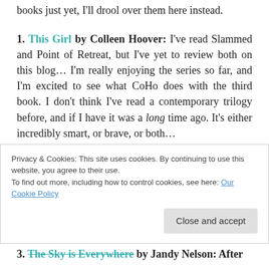books just yet, I'll drool over them here instead.
1. This Girl by Colleen Hoover: I've read Slammed and Point of Retreat, but I've yet to review both on this blog… I'm really enjoying the series so far, and I'm excited to see what CoHo does with the third book. I don't think I've read a contemporary trilogy before, and if I have it was a long time ago. It's either incredibly smart, or brave, or both…
2. Us by David Nicholls: I have SO many books waiting to be devoured on my TBR, but this was a
Privacy & Cookies: This site uses cookies. By continuing to use this website, you agree to their use.
To find out more, including how to control cookies, see here: Our Cookie Policy
3. The Sky is Everywhere by Jandy Nelson: After